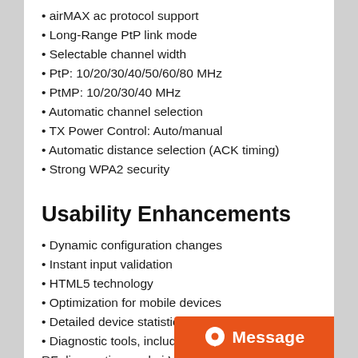airMAX ac protocol support
Long-Range PtP link mode
Selectable channel width
PtP: 10/20/30/40/50/60/80 MHz
PtMP: 10/20/30/40 MHz
Automatic channel selection
TX Power Control: Auto/manual
Automatic distance selection (ACK timing)
Strong WPA2 security
Usability Enhancements
Dynamic configuration changes
Instant input validation
HTML5 technology
Optimization for mobile devices
Detailed device statistics
Diagnostic tools, including Ethernet cabling test, RF diagnostics, and airView Spectrum An